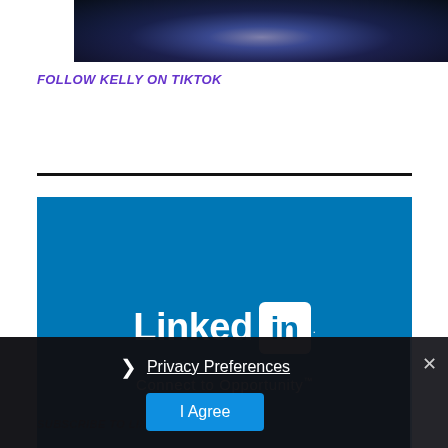[Figure (photo): Dark blue/purple gradient image at top, appears to be a screenshot of a video or dark background with subtle glow effect]
FOLLOW KELLY ON TIKTOK
[Figure (logo): LinkedIn logo on blue background with 'Connect to Opportunity' tagline]
SUBSCRIBE TO LINKEDIN NEWSLETTER
[Figure (screenshot): Cookie/privacy consent overlay with Privacy Preferences link and I Agree button, with X close button]